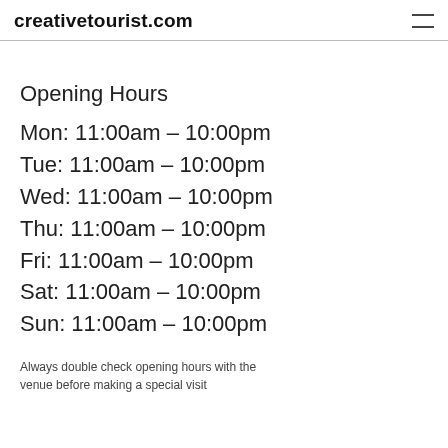creativetourist.com
Opening Hours
Mon: 11:00am – 10:00pm
Tue: 11:00am – 10:00pm
Wed: 11:00am – 10:00pm
Thu: 11:00am – 10:00pm
Fri: 11:00am – 10:00pm
Sat: 11:00am – 10:00pm
Sun: 11:00am – 10:00pm
Always double check opening hours with the venue before making a special visit